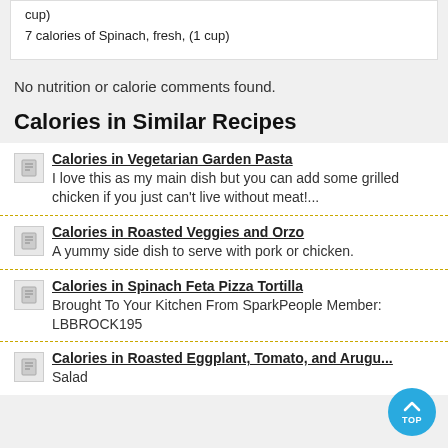cup)
7 calories of Spinach, fresh, (1 cup)
No nutrition or calorie comments found.
Calories in Similar Recipes
Calories in Vegetarian Garden Pasta — I love this as my main dish but you can add some grilled chicken if you just can't live without meat!...
Calories in Roasted Veggies and Orzo — A yummy side dish to serve with pork or chicken.
Calories in Spinach Feta Pizza Tortilla — Brought To Your Kitchen From SparkPeople Member: LBBROCK195
Calories in Roasted Eggplant, Tomato, and Arugula Salad